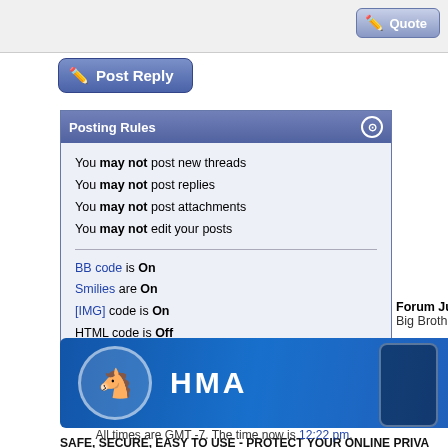[Figure (screenshot): Quote button in top right corner of forum post area]
[Figure (screenshot): Post Reply button with icon]
Posting Rules
You may not post new threads
You may not post replies
You may not post attachments
You may not edit your posts
BB code is On
Smilies are On
[IMG] code is On
HTML code is Off
Forum Jump
Big Brother 22 All-Stars live feed updates
[Figure (screenshot): HMA VPN advertisement banner with donkey mascot and mobile phone]
SAFE, SECURE, EASY TO USE - PROTECT YOUR ONLINE PRIVA...
All times are GMT -7. The time now is 12:22 pm.